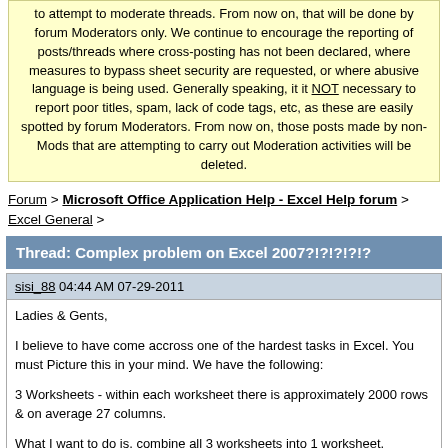to attempt to moderate threads. From now on, that will be done by forum Moderators only. We continue to encourage the reporting of posts/threads where cross-posting has not been declared, where measures to bypass sheet security are requested, or where abusive language is being used. Generally speaking, it it NOT necessary to report poor titles, spam, lack of code tags, etc, as these are easily spotted by forum Moderators. From now on, those posts made by non-Mods that are attempting to carry out Moderation activities will be deleted.
Forum > Microsoft Office Application Help - Excel Help forum > Excel General >
Thread: Complex problem on Excel 2007?!?!?!?!?
sisi_88 04:44 AM 07-29-2011
Ladies & Gents,

I believe to have come accross one of the hardest tasks in Excel. You must Picture this in your mind. We have the following:

3 Worksheets - within each worksheet there is approximately 2000 rows & on average 27 columns.

What I want to do is, combine all 3 worksheets into 1 worksheet.

However, if you just transfer the data from each worksheet under each other, the columns are not ALL in the same order, some are, but some are not + there are columns in work sheet 2 & 3 that may not be in worksheet 1 at all...